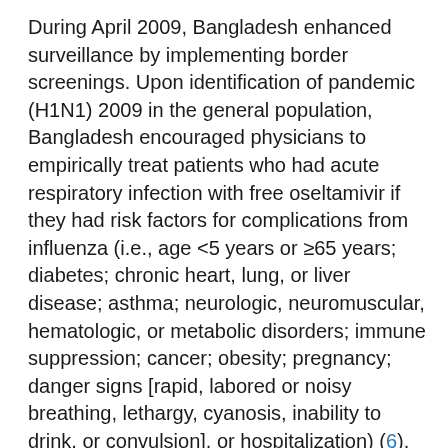During April 2009, Bangladesh enhanced surveillance by implementing border screenings. Upon identification of pandemic (H1N1) 2009 in the general population, Bangladesh encouraged physicians to empirically treat patients who had acute respiratory infection with free oseltamivir if they had risk factors for complications from influenza (i.e., age <5 years or ≥65 years; diabetes; chronic heart, lung, or liver disease; asthma; neurologic, neuromuscular, hematologic, or metabolic disorders; immune suppression; cancer; obesity; pregnancy; danger signs [rapid, labored or noisy breathing, lethargy, cyanosis, inability to drink, or convulsion], or hospitalization) (6). We report the effects of this strategy on a case-series of laboratory-confirmed pandemic (H1N1) 2009 infection identified through enhanced surveillance.